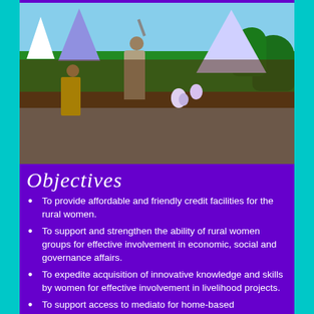[Figure (photo): A woman speaking at a microphone on a stage or elevated platform, addressing a large outdoor crowd. A man in a yellow shirt stands nearby. White tents visible in background. Balloons in the crowd.]
Objectives
To provide affordable and friendly credit facilities for the rural women.
To support and strengthen the ability of rural women groups for effective involvement in economic, social and governance affairs.
To expedite acquisition of innovative knowledge and skills by women for effective involvement in livelihood projects.
To support access to mediato for home-based